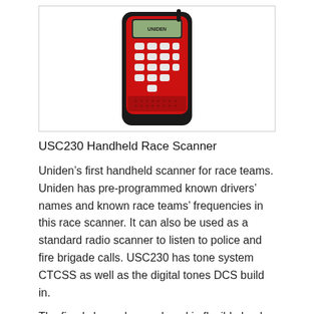[Figure (photo): A red and black Uniden USC230 handheld race scanner radio device with keypad and LCD display, shown against white background inside a bordered box.]
USC230 Handheld Race Scanner
Uniden’s first handheld scanner for race teams. Uniden has pre-programmed known drivers’ names and known race teams’ frequencies in this race scanner. It can also be used as a standard radio scanner to listen to police and fire brigade calls. USC230 has tone system CTCSS as well as the digital tones DCS build in.
The fixed channels are placed in flexible banks, thus allowing for very easy access to all the